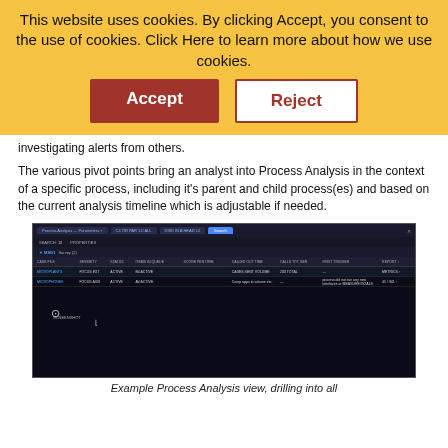This website uses cookies. By clicking Accept, you consent to the use of cookies. Click Here to learn more about how we use cookies.
Accept
Reject
investigating alerts from others.
The various pivot points bring an analyst into Process Analysis in the context of a specific process, including it's parent and child process(es) and based on the current analysis timeline which is adjustable if needed.
[Figure (screenshot): Example Process Analysis view in a dark-themed UI showing a table with process entries and columns for process details]
Example Process Analysis view, drilling into all